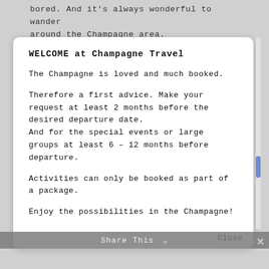bored. And it's always wonderful to wander around the Champagne area.
WELCOME at Champagne Travel
The Champagne is loved and much booked.
Therefore a first advice. Make your request at least 2 months before the desired departure date.
And for the special events or large groups at least 6 – 12 months before departure.
Activities can only be booked as part of a package.
Enjoy the possibilities in the Champagne!
Close
Share This ∨